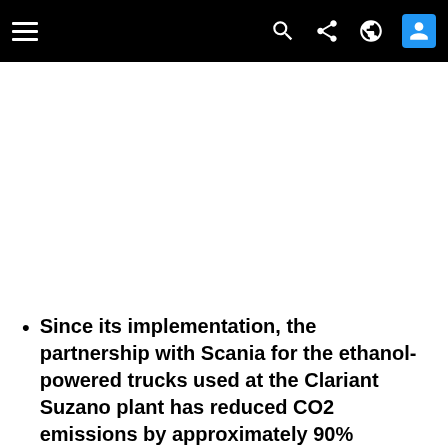Navigation bar with hamburger menu, search, share, globe, and user icons
Since its implementation, the partnership with Scania for the ethanol-powered trucks used at the Clariant Suzano plant has reduced CO2 emissions by approximately 90%